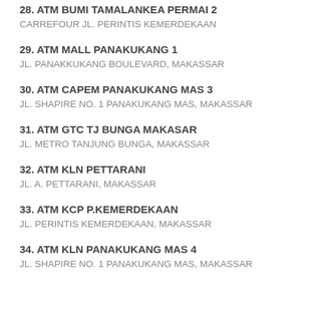28. ATM BUMI TAMALANKEA PERMAI 2
CARREFOUR JL. PERINTIS KEMERDEKAAN
29. ATM MALL PANAKUKANG 1
JL. PANAKKUKANG BOULEVARD, MAKASSAR
30. ATM CAPEM PANAKUKANG MAS 3
JL. SHAPIRE NO. 1 PANAKUKANG MAS, MAKASSAR
31. ATM GTC TJ BUNGA MAKASAR
JL. METRO TANJUNG BUNGA, MAKASSAR
32. ATM KLN PETTARANI
JL. A. PETTARANI, MAKASSAR
33. ATM KCP P.KEMERDEKAAN
JL. PERINTIS KEMERDEKAAN, MAKASSAR
34. ATM KLN PANAKUKANG MAS 4
JL. SHAPIRE NO. 1 PANAKUKANG MAS, MAKASSAR